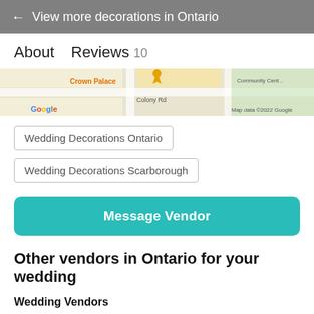← View more decorations in Ontario
About    Reviews 10
[Figure (map): Partial Google Maps view showing a street map with a location pin, Colony Rd label, and 'Map data ©2022 Google' watermark, along with colored Google logo.]
Wedding Decorations Ontario
Wedding Decorations Scarborough
Message Vendor
Other vendors in Ontario for your wedding
Wedding Vendors
Wedding Catering · Wedding Invitations ·
Wedding Favours · Wedding Photography ·